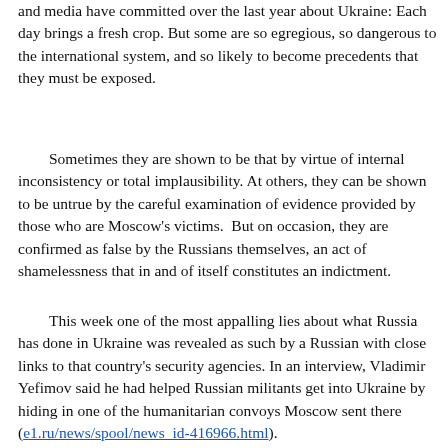and media have committed over the last year about Ukraine: Each day brings a fresh crop. But some are so egregious, so dangerous to the international system, and so likely to become precedents that they must be exposed.
Sometimes they are shown to be that by virtue of internal inconsistency or total implausibility. At others, they can be shown to be untrue by the careful examination of evidence provided by those who are Moscow's victims.  But on occasion, they are confirmed as false by the Russians themselves, an act of shamelessness that in and of itself constitutes an indictment.
This week one of the most appalling lies about what Russia has done in Ukraine was revealed as such by a Russian with close links to that country's security agencies. In an interview, Vladimir Yefimov said he had helped Russian militants get into Ukraine by hiding in one of the humanitarian convoys Moscow sent there (e1.ru/news/spool/news_id-416966.html).